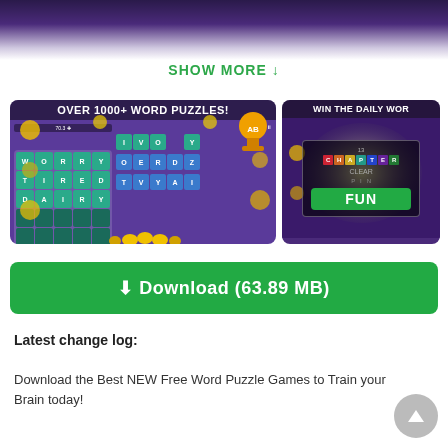[Figure (screenshot): Top purple/dark banner fading to white]
SHOW MORE ↓
[Figure (screenshot): Two app screenshots side by side: left shows word puzzle grid with 'OVER 1000+ WORD PUZZLES!' header and words WORRY/TIRED/DAIRY with IVORY letter tiles; right shows 'WIN THE DAILY WOR' (truncated) with CHAPTER CLEAR screen showing FUN in green button]
⬇ Download (63.89 MB)
Latest change log:
Download the Best NEW Free Word Puzzle Games to Train your Brain today!